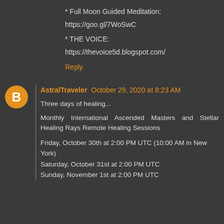* Full Moon Guided Meditation:
https://goo.gl/7WoSwC
* THE VOICE:
https://thevoice5d.blogspot.com/
Reply
AstralTraveler  October 29, 2020 at 8:23 AM
Three days of healing...
Monthly International Ascended Masters and Stellar Healing Rays Remote Healing Sessions
Friday, October 30th at 2:00 PM UTC (10:00 AM in New York)
Saturday, October 31st at 2:00 PM UTC
Sunday, November 1st at 2:00 PM UTC